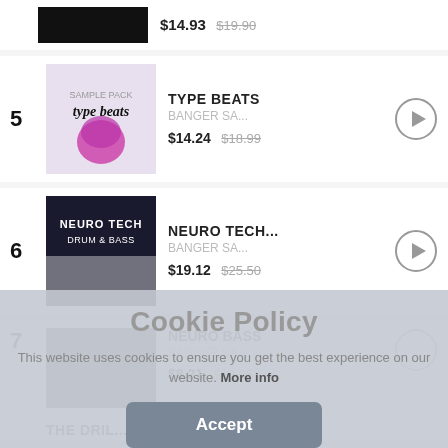$14.93 $19.90 (top partial row)
5 TYPE BEATS BANGER SA... $14.24 $18.99
6 NEURO TECH... BANGER SA... $19.12 $25.50
7 NEURO BASS BANGER SA... $8.21 $10.95
THE DRIL... (partial)
Cookie Policy
This website uses cookies to ensure you get the best experience on our website. More info
Accept